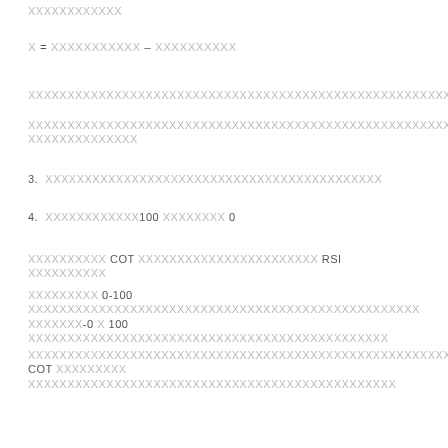XXXXXXXXXXXX
XXXXXXXXXXXXXXXXXXXXXXXXXXXXXXXXXXXXXXXXXXXXXXXXXXXXXXXXXXXXXXXXXXXXXXXXXXXXXXXXXXXXXXX
XXXXXXXXXXXXXXXXXXXXXXXXXXXXXXXXXXXXXXXXXXXXXXXXXXXXXXXXXXXXXXXXXXXXXXXX XXXXXXXXXXXXXX
3. XXXXXXXXXXXXXXXXXXXXXXXXXXXXXXXXXXXXXXXXXXX
4. XXXXXXXXXXXX100 XXXXXXXX 0
XXXXXXXXXX COT XXXXXXXXXXXXXXXXXXXXXXX RSI XXXXXXXXXX
XXXXXXXXX 0-100 XXXXXXXXXXXXXXXXXXXXXXXXXXXXXXXXXXXXXXXXXXXXXXXXXX XXXXXXX-0 X 100 XXXXXXXXXXXXXXXXXXXXXXXXXXXXXXXXXXXXXXXXXXXXXX
XXXXXXXXXXXXXXXXXXXXXXXXXXXXXXXXXXXXXXXXXXXXXXXXXXXXXXXXXXX COT XXXXXXXXX XXXXXXXXXXXXXXXXXXXXXXXXXXXXXXXXXXXXXXXXXXXXXXX